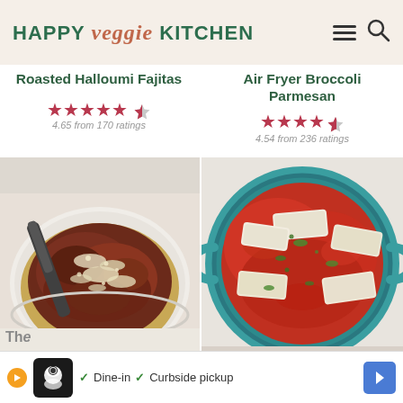HAPPY veggie KITCHEN
Roasted Halloumi Fajitas
4.65 from 170 ratings
Air Fryer Broccoli Parmesan
4.54 from 236 ratings
[Figure (photo): Bowl of pasta/spaghetti with dark red meat sauce and grated parmesan cheese on top, with a spoon]
[Figure (photo): Teal/turquoise dutch oven pot with halloumi cheese slices in red tomato sauce garnished with fresh herbs, viewed from above]
Dine-in  Curbside pickup